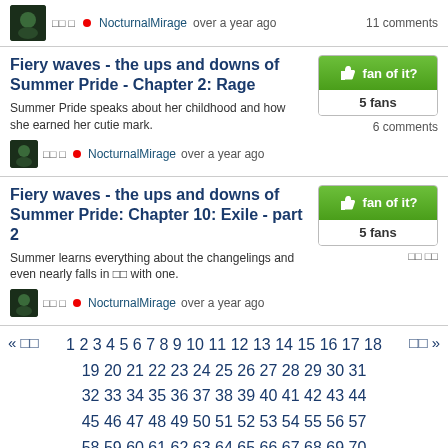□□ □ ● NocturnalMirage over a year ago  11 comments
Fiery waves - the ups and downs of Summer Pride - Chapter 2: Rage
Summer Pride speaks about her childhood and how she earned her cutie mark.
□□ □ ● NocturnalMirage over a year ago  6 comments
Fiery waves - the ups and downs of Summer Pride: Chapter 10: Exile - part 2
Summer learns everything about the changelings and even nearly falls in □□ with one.
□□ □ ● NocturnalMirage over a year ago
« □□  1 2 3 4 5 6 7 8 9 10 11 12 13 14 15 16 17 18 19 20 21 22 23 24 25 26 27 28 29 30 31 32 33 34 35 36 37 38 39 40 41 42 43 44 45 46 47 48 49 50 51 52 53 54 55 56 57 58 59 60 61 62 63 64 65 66 67 68 69 70 71 72 73 74 75 76 77 78 79 80 81 82 83 84 85 86 87 88 89 90 91 92 93 94 95 96 97 98 99 100 101 102 103 104 105 106 107  □□ »